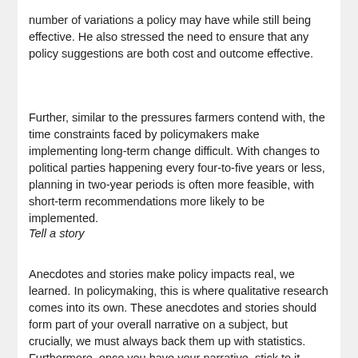number of variations a policy may have while still being effective. He also stressed the need to ensure that any policy suggestions are both cost and outcome effective.
Further, similar to the pressures farmers contend with, the time constraints faced by policymakers make implementing long-term change difficult. With changes to political parties happening every four-to-five years or less, planning in two-year periods is often more feasible, with short-term recommendations more likely to be implemented.
Tell a story
Anecdotes and stories make policy impacts real, we learned. In policymaking, this is where qualitative research comes into its own. These anecdotes and stories should form part of your overall narrative on a subject, but crucially, we must always back them up with statistics. Furthermore, once you have your narrative, stick to it. Never contradict yourself!